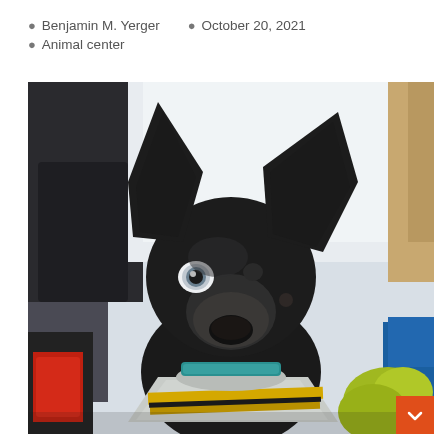Benjamin M. Yerger  October 20, 2021  Animal center
[Figure (photo): A black dog with large upright ears wearing a grey and yellow bandana/neckerchief, looking up at the camera. A person in dark clothing is visible behind the dog on the left, and a child in a blue jacket is on the right. Red equipment is visible in the lower left background.]